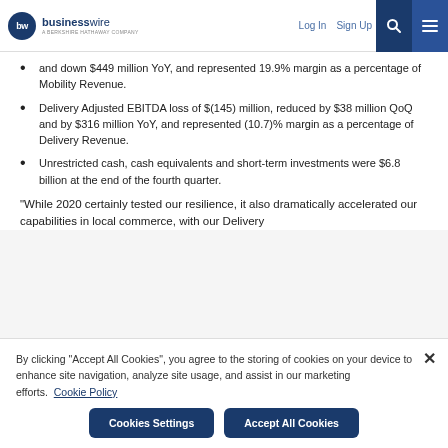businesswire — A BERKSHIRE HATHAWAY COMPANY | Log In | Sign Up
and down $449 million YoY, and represented 19.9% margin as a percentage of Mobility Revenue.
Delivery Adjusted EBITDA loss of $(145) million, reduced by $38 million QoQ and by $316 million YoY, and represented (10.7)% margin as a percentage of Delivery Revenue.
Unrestricted cash, cash equivalents and short-term investments were $6.8 billion at the end of the fourth quarter.
“While 2020 certainly tested our resilience, it also dramatically accelerated our capabilities in local commerce, with our Delivery
By clicking “Accept All Cookies”, you agree to the storing of cookies on your device to enhance site navigation, analyze site usage, and assist in our marketing efforts. Cookie Policy
Cookies Settings | Accept All Cookies